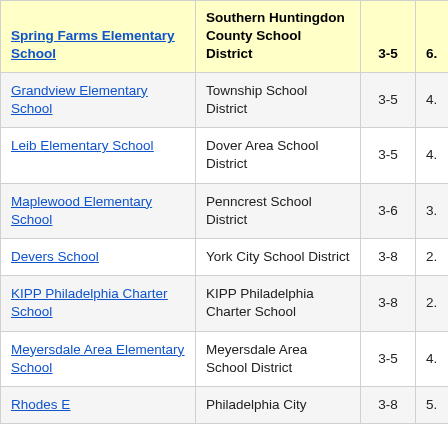| Spring Farms Elementary School | Southern Huntingdon County School District | 3-5 | 6. |
| --- | --- | --- | --- |
| Grandview Elementary School | Township School District | 3-5 | 4. |
| Leib Elementary School | Dover Area School District | 3-5 | 4. |
| Maplewood Elementary School | Penncrest School District | 3-6 | 3. |
| Devers School | York City School District | 3-8 | 2. |
| KIPP Philadelphia Charter School | KIPP Philadelphia Charter School | 3-8 | 2. |
| Meyersdale Area Elementary School | Meyersdale Area School District | 3-5 | 4. |
| Rhodes E | Philadelphia City | 3-8 | 5. |